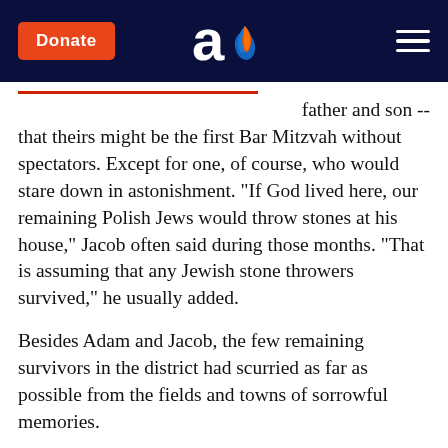Donate [logo] [menu]
father and son -- that theirs might be the first Bar Mitzvah without spectators. Except for one, of course, who would stare down in astonishment. "If God lived here, our remaining Polish Jews would throw stones at his house," Jacob often said during those months. "That is assuming that any Jewish stone throwers survived," he usually added.
Besides Adam and Jacob, the few remaining survivors in the district had scurried as far as possible from the fields and towns of sorrowful memories.
"So, who's going to come?" said the papa to the Bar Mitzvah boy. "Ghosts? Well, at least we'll save a bundle on the Kiddush. How much herring and cheese can they eat?"